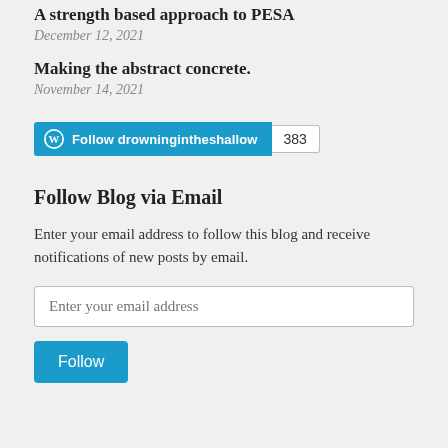A strength based approach to PESA
December 12, 2021
Making the abstract concrete.
November 14, 2021
[Figure (other): WordPress Follow button for 'drowningintheshallow' blog with follower count of 383]
Follow Blog via Email
Enter your email address to follow this blog and receive notifications of new posts by email.
Enter your email address
Follow